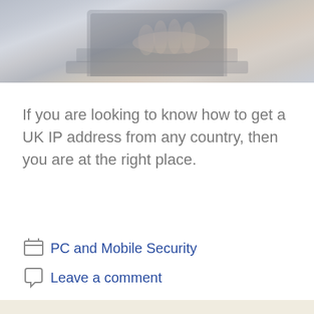[Figure (photo): Person typing on a laptop keyboard, muted bluish-grey tones]
If you are looking to know how to get a UK IP address from any country, then you are at the right place.
PC and Mobile Security
Leave a comment